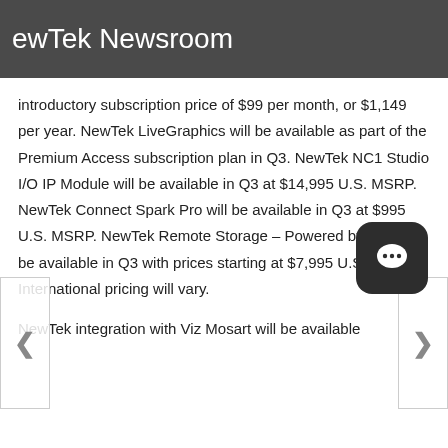ewTek Newsroom
introductory subscription price of $99 per month, or $1,149 per year. NewTek LiveGraphics will be available as part of the Premium Access subscription plan in Q3. NewTek NC1 Studio I/O IP Module will be available in Q3 at $14,995 U.S. MSRP. NewTek Connect Spark Pro will be available in Q3 at $995 U.S. MSRP. NewTek Remote Storage – Powered by SNS will be available in Q3 with prices starting at $7,995 U.S. MSRP. International pricing will vary.

NewTek integration with Viz Mosart will be available